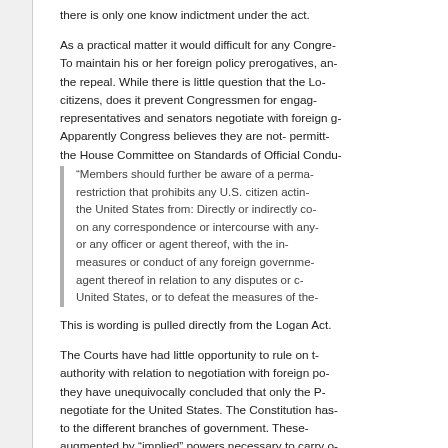there is only one know indictment under the act.
As a practical matter it would difficult for any Congre... To maintain his or her foreign policy prerogatives, an... the repeal. While there is little question that the Lo... citizens, does it prevent Congressmen for engag... representatives and senators negotiate with foreign g... Apparently Congress believes they are not- permitt... the House Committee on Standards of Official Condu...
“Members should further be aware of a perma... restriction that prohibits any U.S. citizen actin... the United States from: Directly or indirectly co... on any correspondence or intercourse with any... or any officer or agent thereof, with the in... measures or conduct of any foreign governme... agent thereof in relation to any disputes or c... United States, or to defeat the measures of the...
This is wording is pulled directly from the Logan Act.
The Courts have had little opportunity to rule on t... authority with relation to negotiation with foreign po... they have unequivocally concluded that only the P... negotiate for the United States. The Constitution has... to the different branches of government. These... augmented by “implied” powers necessary to carry o... The courts have concluded that it is clear that...